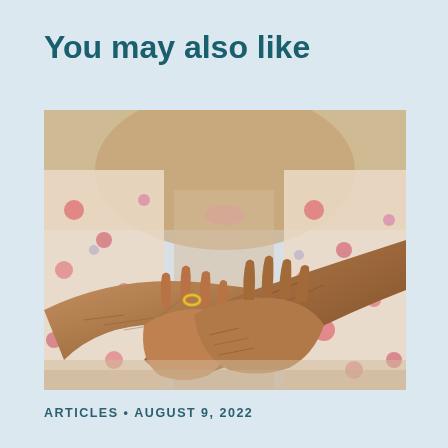You may also like
[Figure (photo): Close-up photograph of elderly woman's wrinkled hands crossed over each other resting on a surface, wearing a gold ring on one finger. The woman is wearing a floral blouse and smiling, visible in the blurred background.]
ARTICLES • AUGUST 9, 2022